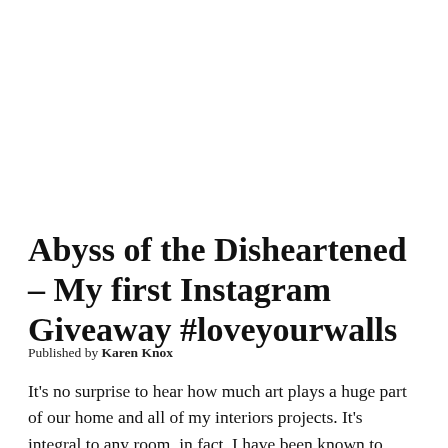Abyss of the Disheartened – My first Instagram Giveaway #loveyourwalls
Published by Karen Knox
It's no surprise to hear how much art plays a huge part of our home and all of my interiors projects. It's integral to any room, in fact, I have been known to